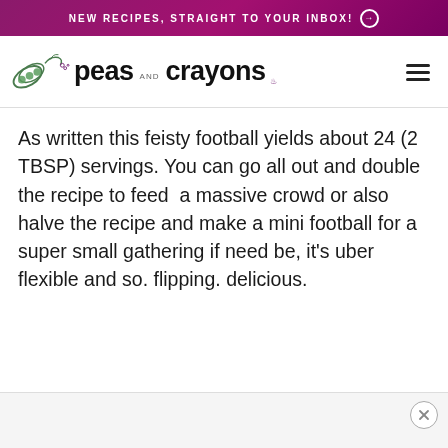NEW RECIPES, STRAIGHT TO YOUR INBOX! ➔
[Figure (logo): Peas and Crayons blog logo with illustrated pea pod and script text]
As written this feisty football yields about 24 (2 TBSP) servings. You can go all out and double the recipe to feed  a massive crowd or also halve the recipe and make a mini football for a super small gathering if need be, it's uber flexible and so. flipping. delicious.